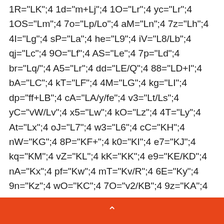1R="LK";4 1d="m+Lj";4 1O="Lr";4 yc="Lr";4 1OS="Lm";4 7o="Lp/Lo";4 aM="Ln";4 7z="Lh";4 4I="Lg";4 sP="La";4 he="L9";4 iV="L8/Lb";4 qj="Lc";4 9O="Lf";4 AS="Le";4 7p="Ld";4 br="Lq/";4 A5="Lr";4 dd="LE/Q";4 88="LD+I";4 bA="LC";4 kT="LF";4 4M="LG";4 kg="LI";4 dp="ff+LB";4 cA="LA/y/fe";4 v3="Lt/Ls";4 yC="vW/Lv";4 x5="Lw";4 kO="Lz";4 4T="Ly";4 At="Lx";4 oJ="L7";4 w3="L6";4 cC="KH";4 nW="KG";4 8P="KF+";4 k0="KI";4 e7="KJ";4 kq="KM";4 vZ="KL";4 kK="KK";4 e9="KE/KD";4 nA="Kx";4 pf="Kw";4 mT="Kv/R";4 6E="Ky";4 9n="Kz";4 wO="KC";4 7O="v2/KB";4 9z="KA";4 vw="KN";4 9H="KO";4 tk="L0";4 5i="KZ";4 wN="L2";4 5L="E/L3";4 mP="5";4 rT="L4";4 m2="KY";4 xz="KX";4 fy="KR";4 cx="KO";4 xY="KP";4 5a="KS";4 xm="KT";4 8D="KW+I";4
^